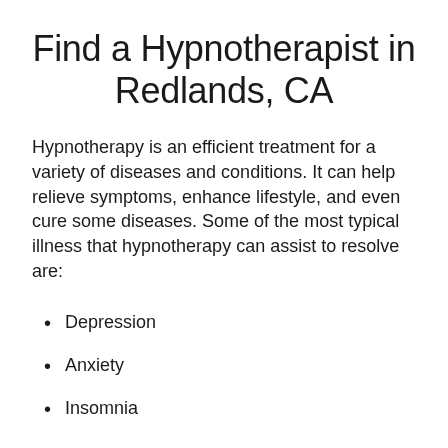Find a Hypnotherapist in Redlands, CA
Hypnotherapy is an efficient treatment for a variety of diseases and conditions. It can help relieve symptoms, enhance lifestyle, and even cure some diseases. Some of the most typical illness that hypnotherapy can assist to resolve are:
Depression
Anxiety
Insomnia